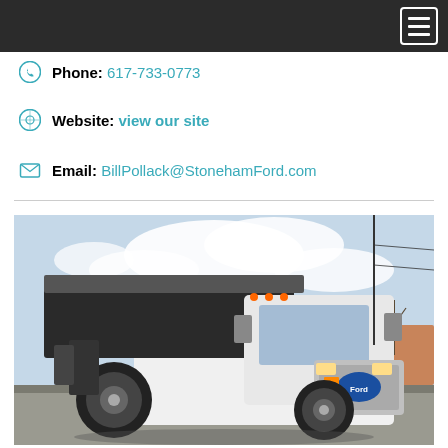Navigation menu header bar
Phone: 617-733-0773
Website: view our site
Email: BillPollack@StonehamFord.com
[Figure (photo): A white Ford dump truck photographed from the front-left angle in a parking lot on a sunny day with blue sky and bare trees in the background.]